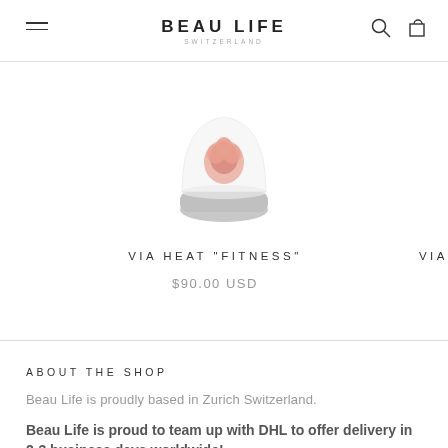BEAU LIFE SWITZERLAND
[Figure (photo): Product photo of a small glass dome terrarium with rose gold floral decoration on a grey base]
VIA HEAT "FITNESS"
$90.00 USD
VIA
ABOUT THE SHOP
Beau Life is proudly based in Zurich Switzerland.
Beau Life is proud to team up with DHL to offer delivery in 2-3 business days worldwide!